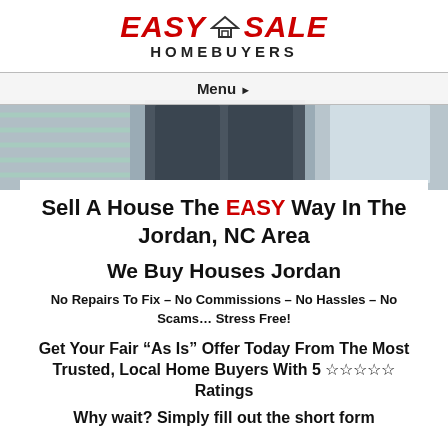[Figure (logo): Easy Sale Homebuyers logo with red italic text and house icon]
Menu ▸
[Figure (photo): Exterior photo of a house with grey siding and windows]
Sell A House The EASY Way In The Jordan, NC Area
We Buy Houses Jordan
No Repairs To Fix – No Commissions – No Hassles – No Scams… Stress Free!
Get Your Fair “As Is” Offer Today From The Most Trusted, Local Home Buyers With 5 ☆☆☆☆☆ Ratings
Why wait? Simply fill out the short form